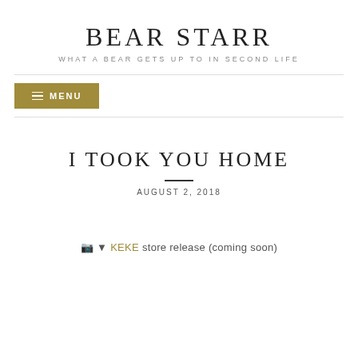BEAR STARR
WHAT A BEAR GETS UP TO IN SECOND LIFE
≡ MENU
I TOOK YOU HOME
AUGUST 2, 2018
📷 ▼ KEKE store release (coming soon)